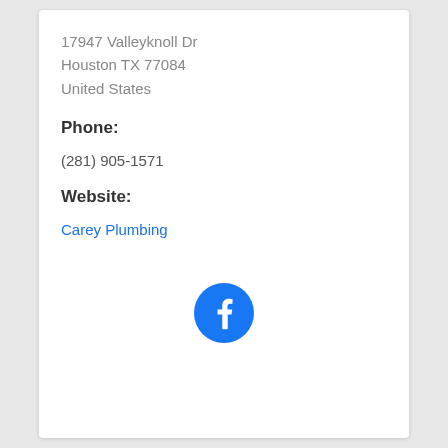17947 Valleyknoll Dr
Houston TX 77084
United States
Phone:
(281) 905-1571
Website:
Carey Plumbing
[Figure (logo): Facebook logo — blue circle with white 'f' letterform]